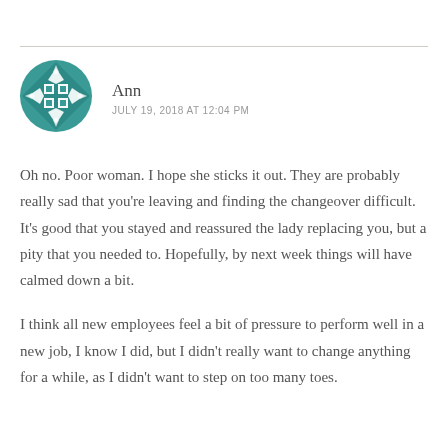[Figure (illustration): Circular geometric avatar with teal background featuring a diamond/grid pattern in white and teal]
Ann
JULY 19, 2018 AT 12:04 PM
Oh no. Poor woman. I hope she sticks it out. They are probably really sad that you're leaving and finding the changeover difficult. It's good that you stayed and reassured the lady replacing you, but a pity that you needed to. Hopefully, by next week things will have calmed down a bit.
I think all new employees feel a bit of pressure to perform well in a new job, I know I did, but I didn't really want to change anything for a while, as I didn't want to step on too many toes.